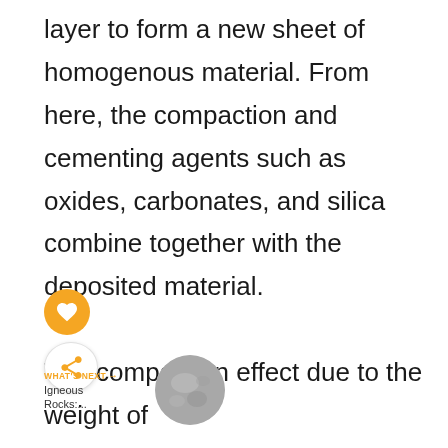layer to form a new sheet of homogenous material. From here, the compaction and cementing agents such as oxides, carbonates, and silica combine together with the deposited material.

The compaction effect due to the weight of the piling layers of materials reduces the porosity of the rocks formed and intensifies the friction between the grains. At times,

fossil fuels and organic matter may settle